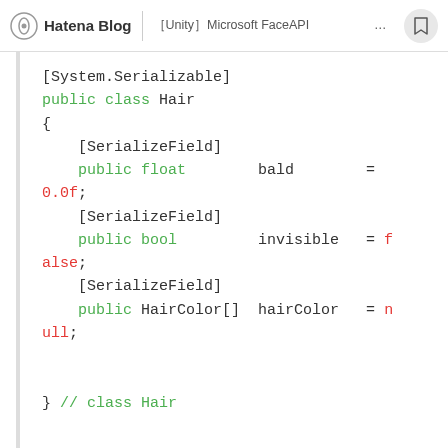Hatena Blog | ［Unity］Microsoft FaceAPI～～～～～～～～～～～～
[Figure (screenshot): Code block showing a C# Unity class definition for Hair with fields bald (float), invisible (bool), and hairColor (HairColor[])]